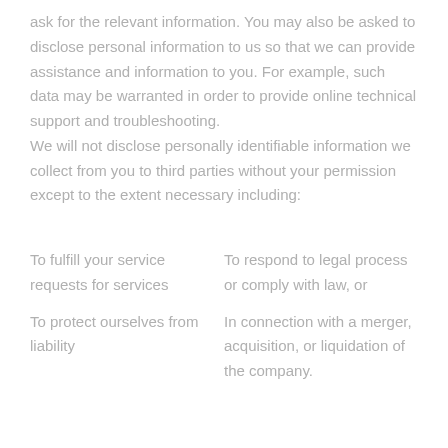ask for the relevant information. You may also be asked to disclose personal information to us so that we can provide assistance and information to you. For example, such data may be warranted in order to provide online technical support and troubleshooting. We will not disclose personally identifiable information we collect from you to third parties without your permission except to the extent necessary including:
To fulfill your service requests for services
To protect ourselves from liability
To respond to legal process or comply with law, or
In connection with a merger, acquisition, or liquidation of the company.